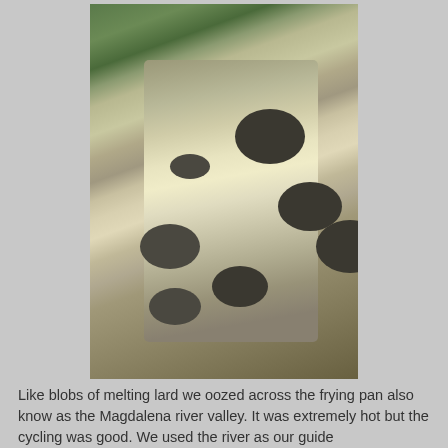[Figure (photo): Photograph of a turbulent river with murky brownish water flowing over rocks, surrounded by rocky banks on both sides and green vegetation visible at the top. The river appears to be the Magdalena river valley in Colombia.]
Like blobs of melting lard we oozed across the frying pan also know as the Magdalena river valley. It was extremely hot but the cycling was good. We used the river as our guide and followed the countless of dirt roads as it slowly drained